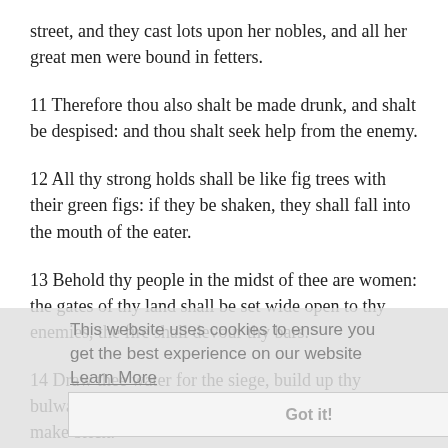street, and they cast lots upon her nobles, and all her great men were bound in fetters.
11 Therefore thou also shalt be made drunk, and shalt be despised: and thou shalt seek help from the enemy.
12 All thy strong holds shall be like fig trees with their green figs: if they be shaken, they shall fall into the mouth of the eater.
13 Behold thy people in the midst of thee are women: the gates of thy land shall be set wide open to thy enemies, the fire shall devour thy bars.
14 Draw thee water for the siege, build up thy bulwarks: go into the clay, and tread, work it and make brick.